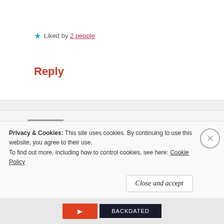★ Liked by 2 people
Reply
Becoming His Tapestry
January 7, 2022 at 10:28 pm
Wow 😮 that's fantastic, prayerfully
Privacy & Cookies: This site uses cookies. By continuing to use this website, you agree to their use. To find out more, including how to control cookies, see here: Cookie Policy
Close and accept